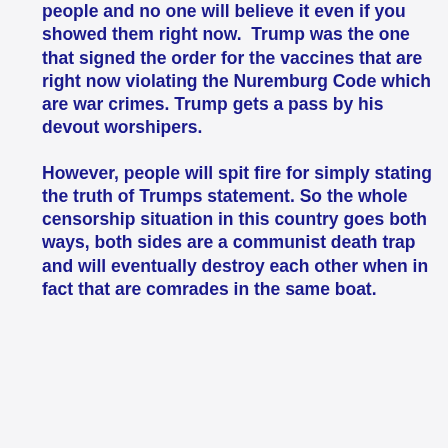people and no one will believe it even if you showed them right now.  Trump was the one that signed the order for the vaccines that are right now violating the Nuremburg Code which are war crimes. Trump gets a pass by his devout worshipers.
However, people will spit fire for simply stating the truth of Trumps statement. So the whole censorship situation in this country goes both ways, both sides are a communist death trap and will eventually destroy each other when in fact that are comrades in the same boat.